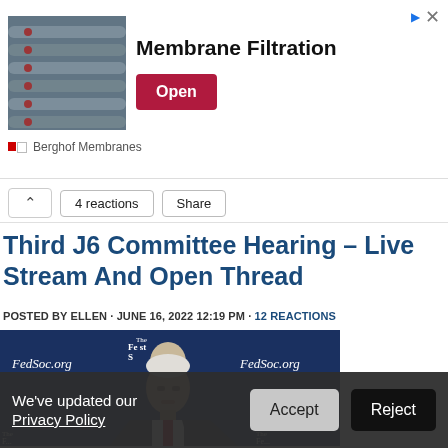[Figure (other): Advertisement banner: industrial pipes photo on left, 'Membrane Filtration' text in center, red 'Open' button on right, Berghof Membranes brand below]
4 reactions   Share
Third J6 Committee Hearing – Live Stream And Open Thread
POSTED BY ELLEN · JUNE 16, 2022 12:19 PM · 12 REACTIONS
[Figure (photo): Photo of Mike Pence speaking at a Federalist Society event, FedSoc.org branding visible on blue backdrop]
We've updated our Privacy Policy   Accept   Reject